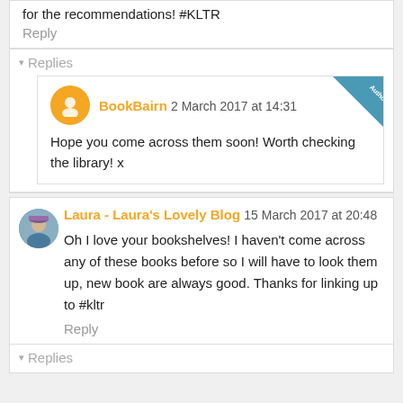for the recommendations! #KLTR
Reply
▾ Replies
BookBairn 2 March 2017 at 14:31
Hope you come across them soon! Worth checking the library! x
Laura - Laura's Lovely Blog 15 March 2017 at 20:48
Oh I love your bookshelves! I haven't come across any of these books before so I will have to look them up, new book are always good. Thanks for linking up to #kltr
Reply
▾ Replies